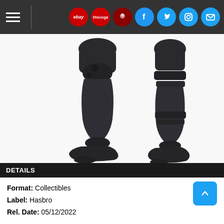Navigation bar with hamburger menu and social/marketplace icons: eBay, Discogs, and social media icons (Facebook, Twitter, Instagram, Mail)
[Figure (photo): Close-up photo of the legs and feet of a dark grey/black articulated action figure (robot or armored character), showing jointed knees and armored shin pieces, on a white background]
DETAILS
Format: Collectibles
Label: Hasbro
Rel. Date: 05/12/2022